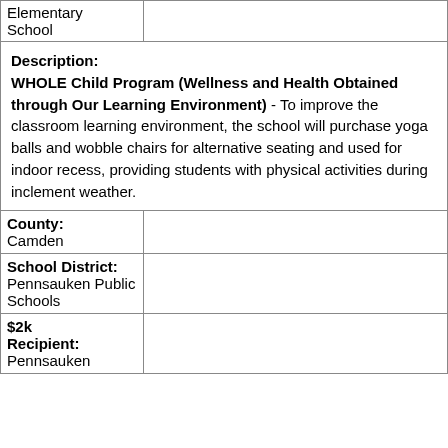| Elementary School |  |
| Description: WHOLE Child Program (Wellness and Health Obtained through Our Learning Environment) - To improve the classroom learning environment, the school will purchase yoga balls and wobble chairs for alternative seating and used for indoor recess, providing students with physical activities during inclement weather. |
| County:
Camden |  |
| School District:
Pennsauken Public Schools |  |
| $2k
Recipient:
Pennsauken |  |